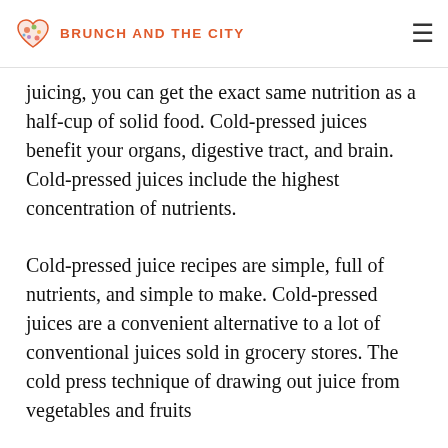BRUNCH AND THE CITY
juicing, you can get the exact same nutrition as a half-cup of solid food. Cold-pressed juices benefit your organs, digestive tract, and brain. Cold-pressed juices include the highest concentration of nutrients.
Cold-pressed juice recipes are simple, full of nutrients, and simple to make. Cold-pressed juices are a convenient alternative to a lot of conventional juices sold in grocery stores. The cold press technique of drawing out juice from vegetables and fruits